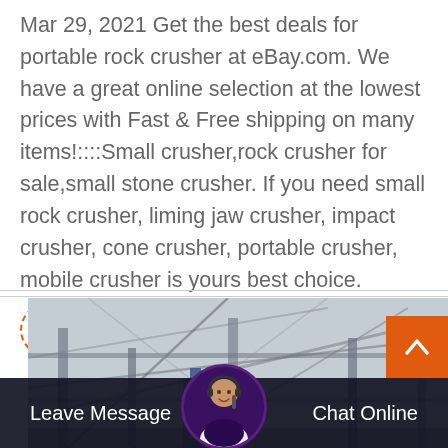Mar 29, 2021 Get the best deals for portable rock crusher at eBay.com. We have a great online selection at the lowest prices with Fast & Free shipping on many items!::::Small crusher,rock crusher for sale,small stone crusher. If you need small rock crusher, liming jaw crusher, impact crusher, cone crusher, portable crusher, mobile crusher is yours best choice.
Read More
[Figure (photo): Industrial factory or plant interior in grayscale showing metal structures, pipes, scaffolding]
Leave Message
Chat Online